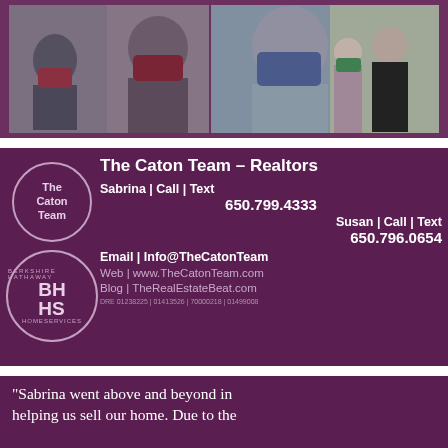[Figure (photo): Three photos of real estate agents wearing face masks, shown in an outdoor setting]
The Caton Team - Realtors
Sabrina | Call | Text
650.799.4333
Susan | Call | Text
650.796.0654
Email | Info@TheCatonTeam
Web | www.TheCatonTeam.com
Blog | TheRealEstateBeat.com
DRE 01238225 | 01413526 | 70000218 | 01499008
"Sabrina went above and beyond in helping us sell our home. Due to the